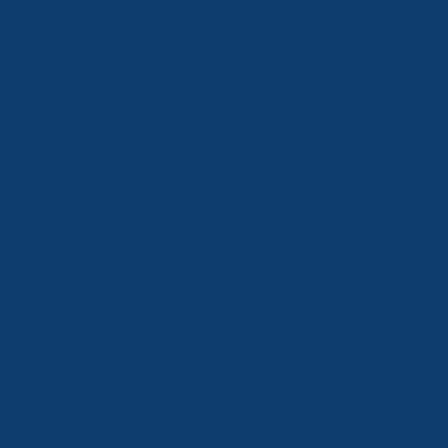[Figure (other): Solid dark navy/dark blue background filling the entire page. No text or other visible content.]